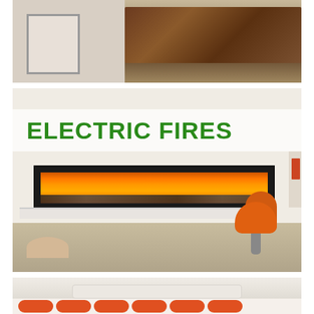[Figure (photo): Top strip photo of a modern living room interior with dark wood panel wall and grey wall visible]
[Figure (photo): Photo of a modern electric fireplace inset in a white wall with an orange designer chair beside it, overlaid with green bold text reading ELECTRIC FIRES]
ELECTRIC FIRES
[Figure (photo): Bottom strip showing a white fireplace mantel shelf with decorative orange/red circles below]